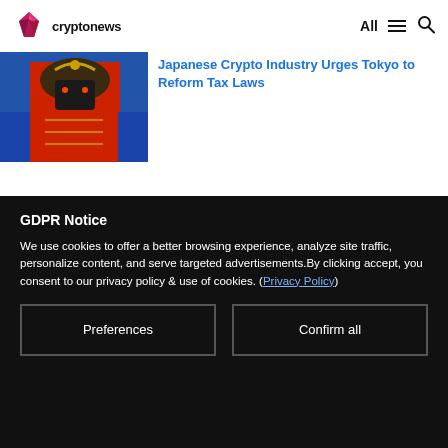cryptonews | All
[Figure (photo): Person in a red samurai costume with a golden dragon helmet]
Japanese Crypto Industry Urges Tokyo to Reform Tax Laws
GDPR Notice
We use cookies to offer a better browsing experience, analyze site traffic, personalize content, and serve targeted advertisements.By clicking accept, you consent to our privacy policy & use of cookies. (Privacy Policy)